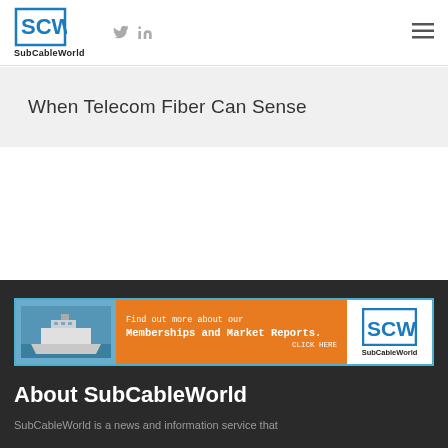SubCableWorld
When Telecom Fiber Can Sense
[Figure (infographic): SubCableWorld advertisement banner with ship image on blue background, orange text area saying 'Find out more about our Memberships and Market Reports. CLICK HERE', and white SCW logo on right]
About SubCableWorld
SubCableWorld is a news and information service that